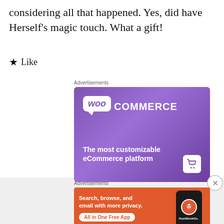considering all that happened. Yes, did have Herself’s magic touch. What a gift!
★ Like
Advertisements
[Figure (illustration): WooCommerce advertisement banner with purple gradient background. Shows WooCommerce logo (white speech bubble with 'woo' text, and 'COMMERCE' in white caps). Tagline: 'The most customizable eCommerce platform'. Cart icon in bottom right.]
Advertisements
[Figure (illustration): DuckDuckGo advertisement banner with orange background. Text: 'Search, browse, and email with more privacy. All in One Free App'. Shows a smartphone with DuckDuckGo logo. Close button (X circle) on the right edge.]